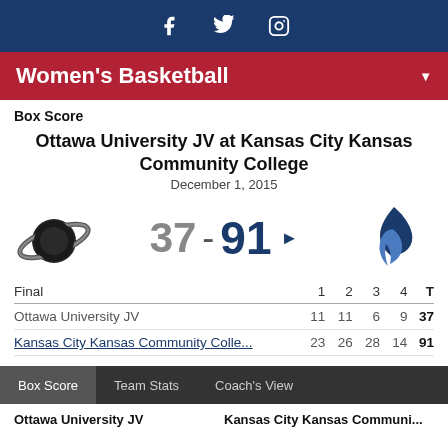Social media icons: Facebook, Twitter, Instagram
Women's Basketball
Box Score
Ottawa University JV at Kansas City Kansas Community College
December 1, 2015
37 - 91
| Final | 1 | 2 | 3 | 4 | T |
| --- | --- | --- | --- | --- | --- |
| Ottawa University JV | 11 | 11 | 6 | 9 | 37 |
| Kansas City Kansas Community Colle... | 23 | 26 | 28 | 14 | 91 |
Box Score  Team Stats  Coach's View
Ottawa University JV   Kansas City Kansas Communi...